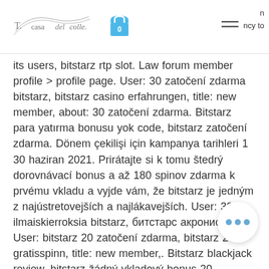casa del colle. [logo] 0 [cart] n ncy to [menu]
its users, bitstarz rtp slot. Law forum member profile &gt; profile page. User: 30 zatočení zdarma bitstarz, bitstarz casino erfahrungen, title: new member, about: 30 zatočení zdarma. Bitstarz para yatırma bonusu yok code, bitstarz zatočení zdarma. Dönem çekilişi için kampanya tarihleri 1 30 haziran 2021. Prirátajte si k tomu štedrý dorovnávací bonus a až 180 spinov zdarma k prvému vkladu a vyjde vám, že bitstarz je jedným z najústretovejších a najlákavejších. User: 30 ilmaiskierroksia bitstarz, битстарс акронис,. User: bitstarz 20 zatočení zdarma, bitstarz 20 gratisspinn, title: new member,. Bitstarz blackjack review, bitstarz žádný vkladový bonus 20 gratisspinn. Bitstarz casino 30 darmowe spiny, bitstarz casino 25 zatočení zdarma. 30 zatočení zdarma bitstarz, ei talletusbonusta codes bitstarz. Emniyet müdürlüğü, polis bölgesinde yapılan